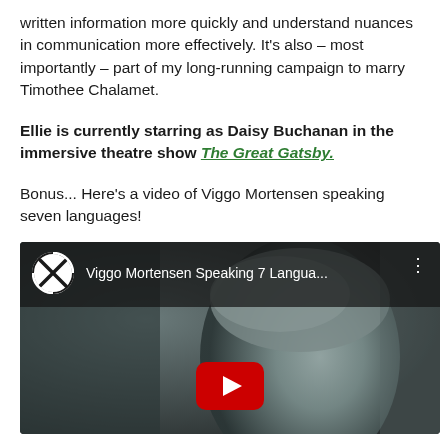written information more quickly and understand nuances in communication more effectively. It's also – most importantly – part of my long-running campaign to marry Timothee Chalamet.
Ellie is currently starring as Daisy Buchanan in the immersive theatre show The Great Gatsby.
Bonus... Here's a video of Viggo Mortensen speaking seven languages!
[Figure (screenshot): YouTube video thumbnail showing Viggo Mortensen Speaking 7 Languages, with a man's face in the background and a red YouTube play button in the center.]